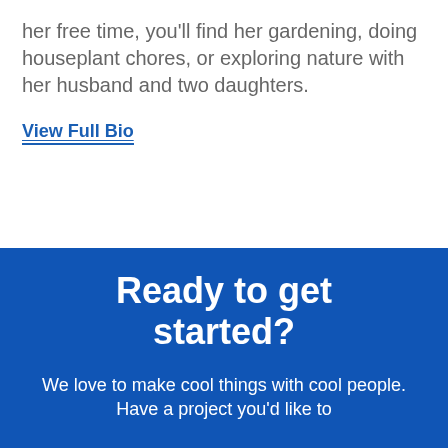her free time, you'll find her gardening, doing houseplant chores, or exploring nature with her husband and two daughters.
View Full Bio
Ready to get started?
We love to make cool things with cool people. Have a project you'd like to